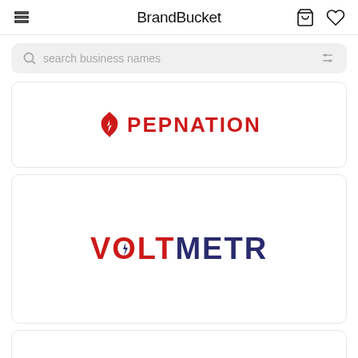BrandBucket
search business names
[Figure (logo): PEPNATION logo with flame icon in red and bold red uppercase text]
[Figure (logo): VOLTMETR logo with red VOLT and dark blue METR text, lightning bolt in the O]